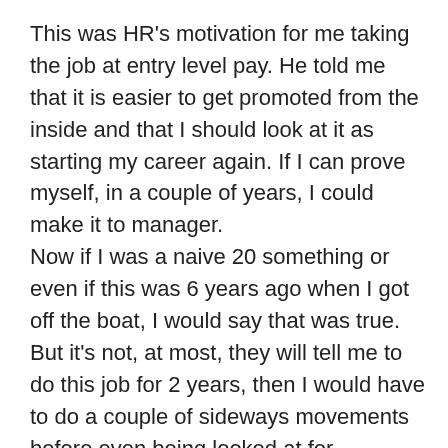This was HR's motivation for me taking the job at entry level pay. He told me that it is easier to get promoted from the inside and that I should look at it as starting my career again. If I can prove myself, in a couple of years, I could make it to manager.
Now if I was a naive 20 something or even if this was 6 years ago when I got off the boat, I would say that was true. But it's not, at most, they will tell me to do this job for 2 years, then I would have to do a couple of sideways movements before even being looked at for promotion. I am looking at 5 years in the very least before I am considered for promotion. In the meantime, there would be some dick picking holes in everything I do, telling me I am not good enough. Yeah right.
So I sent an email to HR, outlining me and the boss' history and the issues we are facing today, if she was to